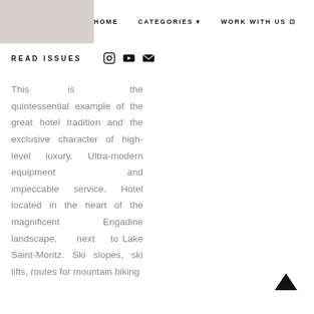HOME   CATEGORIES   WORK WITH US   ABOUT
READ ISSUES
This is the quintessential example of the great hotel tradition and the exclusive character of high-level luxury. Ultra-modern equipment and impeccable service. Hotel located in the heart of the magnificent Engadine landscape, next to Lake Saint-Moritz. Ski slopes, ski lifts, routes for mountain biking